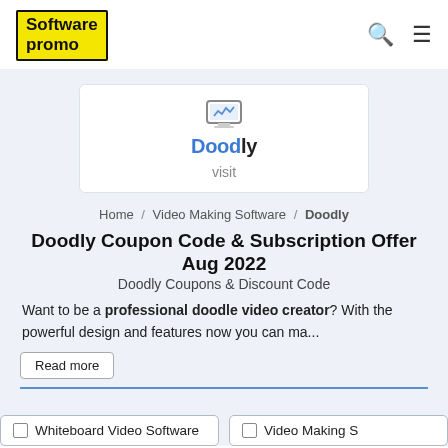Software promo
[Figure (logo): Doodly logo with monitor icon and stylized 'Doodly' text in dark and blue, with a 'visit' link below]
Home / Video Making Software / Doodly
Doodly Coupon Code & Subscription Offer Aug 2022
Doodly Coupons & Discount Code
Want to be a professional doodle video creator? With the powerful design and features now you can ma...
Read more
Whiteboard Video Software
Video Making S